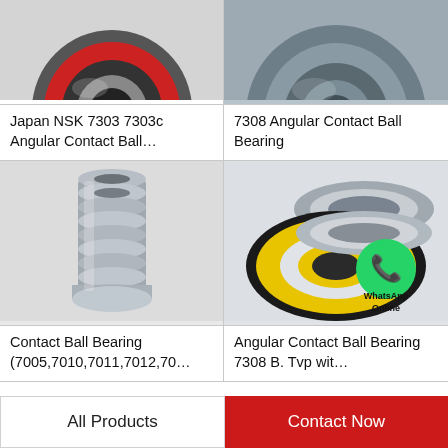[Figure (photo): Japan NSK 7303 angular contact ball bearing with red seal, top view cropped]
Japan NSK 7303 7303c Angular Contact Ball…
[Figure (photo): 7308 Angular Contact Ball Bearing, grey metallic, top view cropped]
7308 Angular Contact Ball Bearing
[Figure (photo): Contact Ball Bearing stack (7005,7010,7011,7012,70...), cylindrical stacked silver bearings]
Contact Ball Bearing (7005,7010,7011,7012,70…
[Figure (photo): Angular Contact Ball Bearing 7308 B. Tvp with yellow seal, WhatsApp Online badge overlay]
Angular Contact Ball Bearing 7308 B. Tvp wit…
All Products
Contact Now